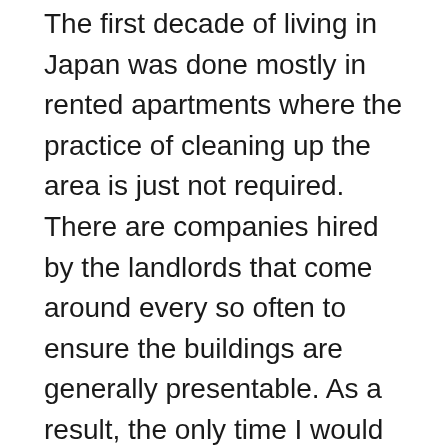The first decade of living in Japan was done mostly in rented apartments where the practice of cleaning up the area is just not required. There are companies hired by the landlords that come around every so often to ensure the buildings are generally presentable. As a result, the only time I would see a neighbour was if they just happened to be outside when it was time to bring Nozomi for a walk. There was one neighbour who I regularly spoke to at the last apartment, but he moved out a couple of years before the boy was born. People generally kept to themselves.
Neighbourhood cleaning encourages people to go out and mingle with their neighbours while performing a common task. A lot of people